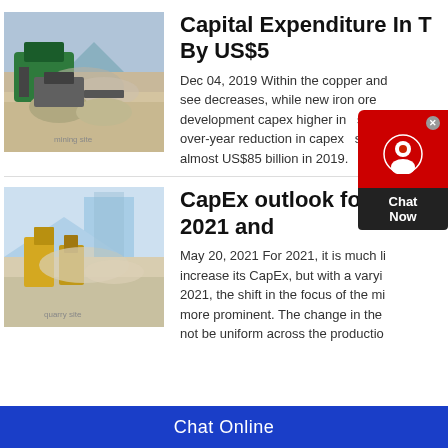Capital Expenditure In T... By US$5
[Figure (photo): Mining machinery processing crushed stone/gravel at a mining site, dust visible, industrial equipment in background.]
Dec 04, 2019 Within the copper and... see decreases, while new iron ore... development capex higher in... s... over-year reduction in capex... s almost US$85 billion in 2019.
CapEx outlook for the m... 2021 and
[Figure (photo): Open-pit mining or quarry site with yellow heavy machinery, dust clouds, trees visible in background.]
May 20, 2021 For 2021, it is much li... increase its CapEx, but with a varyi... 2021, the shift in the focus of the mi... more prominent. The change in the... not be uniform across the productio...
Chat Online